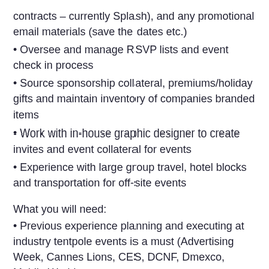contracts – currently Splash), and any promotional email materials (save the dates etc.)
• Oversee and manage RSVP lists and event check in process
• Source sponsorship collateral, premiums/holiday gifts and maintain inventory of companies branded items
• Work with in-house graphic designer to create invites and event collateral for events
• Experience with large group travel, hotel blocks and transportation for off-site events
What you will need:
• Previous experience planning and executing at industry tentpole events is a must (Advertising Week, Cannes Lions, CES, DCNF, Dmexco, Mobile World